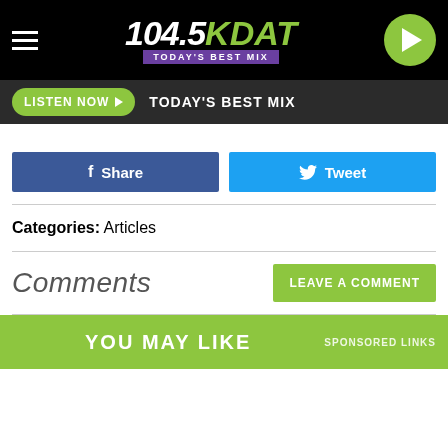104.5 KDAT TODAY'S BEST MIX
LISTEN NOW  TODAY'S BEST MIX
Share  Tweet
Categories: Articles
Comments
LEAVE A COMMENT
YOU MAY LIKE  SPONSORED LINKS